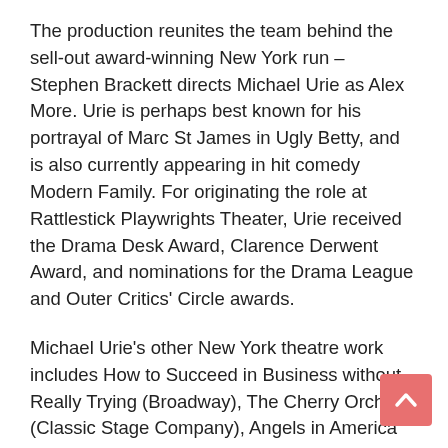The production reunites the team behind the sell-out award-winning New York run – Stephen Brackett directs Michael Urie as Alex More. Urie is perhaps best known for his portrayal of Marc St James in Ugly Betty, and is also currently appearing in hit comedy Modern Family. For originating the role at Rattlestick Playwrights Theater, Urie received the Drama Desk Award, Clarence Derwent Award, and nominations for the Drama League and Outer Critics' Circle awards.
Michael Urie's other New York theatre work includes How to Succeed in Business without Really Trying (Broadway), The Cherry Orchard (Classic Stage Company), Angels in America (Signature Theatre), The Temperamentals (Off-Broadway; Lucille Lortel – Drama Desk and Theatre World awards; Drama League nomination), The Revenger's Tragedy (Red Bull Theatre) and Another Vermeer (HB Playwrights). He has worked in many US regional theatres, including The Old Globe, Vineyard Playhouse, South Coast Rep, Seattle Rep, Folger Shakespeare, Barrington Stage, Hyde Park (Austin) and The